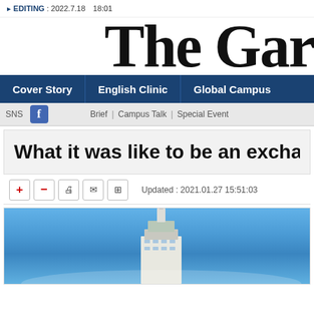EDITING : 2022.7.18 18:01
[Figure (logo): The Ga... (newspaper masthead in blackletter/Gothic font, partially visible)]
Cover Story | English Clinic | Global Campus
SNS  Brief | Campus Talk | Special Event
What it was like to be an exchange stude...
Updated : 2021.01.27  15:51:03
[Figure (photo): Photo of a tower (appears to be Taipei 101) against a blue sky with some clouds]